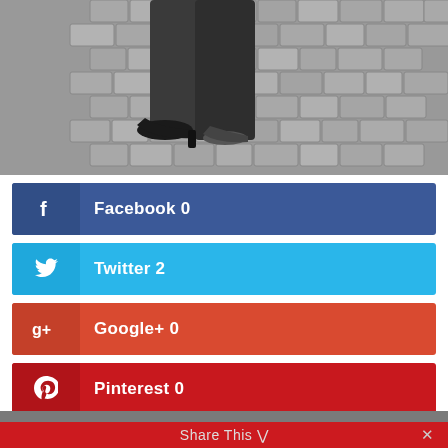[Figure (photo): Black and white photograph showing lower legs and feet of a person walking on cobblestone pavement. The person wears dark trousers and high-heeled shoes.]
Facebook 0
Twitter 2
Google+ 0
Pinterest 0
Share This